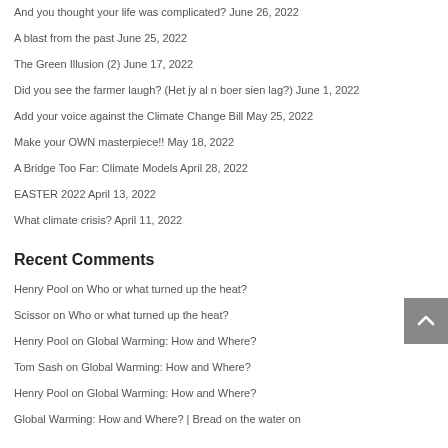And you thought your life was complicated? June 26, 2022
A blast from the past June 25, 2022
The Green Illusion (2) June 17, 2022
Did you see the farmer laugh? (Het jy al n boer sien lag?) June 1, 2022
Add your voice against the Climate Change Bill May 25, 2022
Make your OWN masterpiece!! May 18, 2022
A Bridge Too Far: Climate Models April 28, 2022
EASTER 2022 April 13, 2022
What climate crisis? April 11, 2022
Recent Comments
Henry Pool on Who or what turned up the heat?
Scissor on Who or what turned up the heat?
Henry Pool on Global Warming: How and Where?
Tom Sash on Global Warming: How and Where?
Henry Pool on Global Warming: How and Where?
Global Warming: How and Where? | Bread on the water on